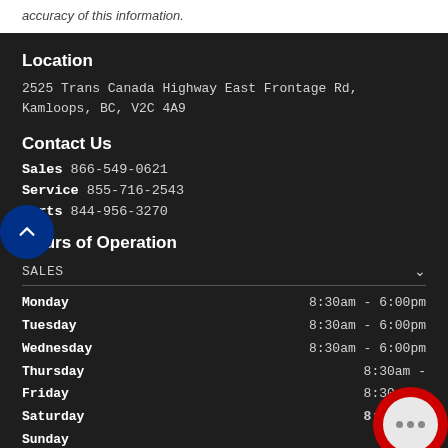accuracy of this information.
Location
2525 Trans Canada Highway East Frontage Rd, Kamloops, BC, V2C 4A9
Contact Us
Sales 866-549-0621
Service 855-716-2543
Parts 844-956-3270
Hours of Operation
SALES
| Day | Hours |
| --- | --- |
| Monday | 8:30am - 6:00pm |
| Tuesday | 8:30am - 6:00pm |
| Wednesday | 8:30am - 6:00pm |
| Thursday | 8:30am -  |
| Friday | 8:30am -  |
| Saturday | 8:30am -  |
| Sunday |  |